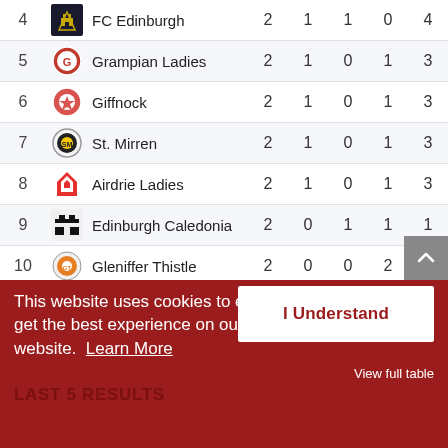| # | Club |  | P | W | D | L | Pts |
| --- | --- | --- | --- | --- | --- | --- | --- |
| 4 | FC Edinburgh |  | 2 | 1 | 1 | 0 | 4 |
| 5 | Grampian Ladies |  | 2 | 1 | 0 | 1 | 3 |
| 6 | Giffnock |  | 2 | 1 | 0 | 1 | 3 |
| 7 | St. Mirren |  | 2 | 1 | 0 | 1 | 3 |
| 8 | Airdrie Ladies |  | 2 | 1 | 0 | 1 | 3 |
| 9 | Edinburgh Caledonia |  | 2 | 0 | 1 | 1 | 1 |
| 10 | Gleniffer Thistle |  | 2 | 0 | 0 | 2 | 0 |
| 11 | Dundee West |  | 2 | 0 | 0 | 2 | 0 |
| 12 | BSC Glasgow |  | 2 | 0 | 0 | 2 | 0 |
View full table
This website uses cookies to ensure you get the best experience on our website. Learn More
I Understand
LAST 5 RESULTS